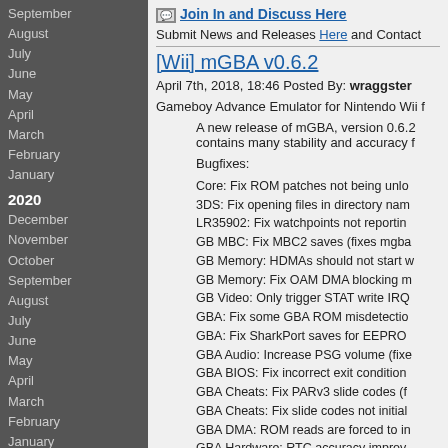September
August
July
June
May
April
March
February
January
2020
December
November
October
September
August
July
June
May
April
March
February
January
2019
December
November
October
September
August
July
June
May
April
March
February
Join In and Discuss Here
Submit News and Releases Here and Contact
[Wii] mGBA v0.6.2
April 7th, 2018, 18:46 Posted By: wraggster
Gameboy Advance Emulator for Nintendo Wii
A new release of mGBA, version 0.6.2 contains many stability and accuracy f
Bugfixes:
Core: Fix ROM patches not being unlo
3DS: Fix opening files in directory nam
LR35902: Fix watchpoints not reportin
GB MBC: Fix MBC2 saves (fixes mgba
GB Memory: HDMAs should not start w
GB Memory: Fix OAM DMA blocking m
GB Video: Only trigger STAT write IRQ
GBA: Fix some GBA ROM misdetectio
GBA: Fix SharkPort saves for EEPRO
GBA Audio: Increase PSG volume (fixe
GBA BIOS: Fix incorrect exit condition
GBA Cheats: Fix PARv3 slide codes (f
GBA Cheats: Fix slide codes not initial
GBA DMA: ROM reads are forced to in
GBA Hardware: RTC accuracy improv
GBA I/O: Fix writing to DISPCNT CGB
GBA Memory: Fix copy-on-write memo
GBA Memory: Partially revert prefetch
GBA Savedata: Fix crash when resizin
GBA Video: Force align 256-color tiles